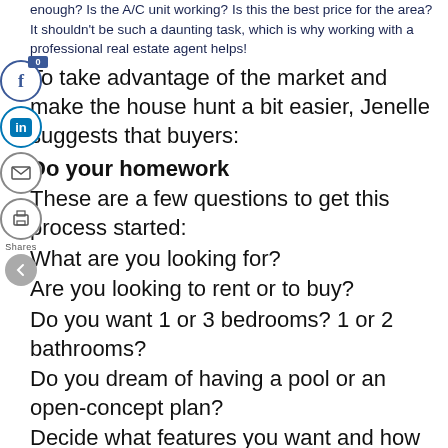enough? Is the A/C unit working? Is this the best price for the area? It shouldn't be such a daunting task, which is why working with a professional real estate agent helps!
To take advantage of the market and make the house hunt a bit easier, Jenelle suggests that buyers:
Do your homework
These are a few questions to get this process started:
What are you looking for?
Are you looking to rent or to buy?
Do you want 1 or 3 bedrooms? 1 or 2 bathrooms?
Do you dream of having a pool or an open-concept plan?
Decide what features you want and how much you are willing to pay for them before you start your search. This will not only save you time, but